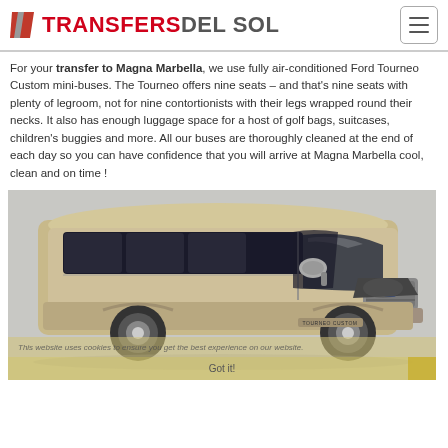TRANSFERSDELSOL
For your transfer to Magna Marbella, we use fully air-conditioned Ford Tourneo Custom mini-buses. The Tourneo offers nine seats – and that's nine seats with plenty of legroom, not for nine contortionists with their legs wrapped round their necks. It also has enough luggage space for a host of golf bags, suitcases, children's buggies and more. All our buses are thoroughly cleaned at the end of each day so you can have confidence that you will arrive at Magna Marbella cool, clean and on time !
[Figure (photo): A silver/champagne Ford Tourneo Custom minibus photographed from a 3/4 front angle against a light grey background. The vehicle shows the full side profile with windows along the top, large side mirrors, and the front grille with Ford logo. A 'TOURNEO CUSTOM' badge is visible on the lower rear. A cookie consent bar overlays the lower portion of the image.]